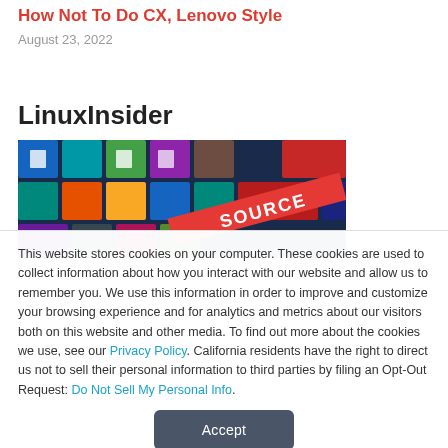How Not To Do CX, Lenovo Style
August 23, 2022
LinuxInsider
[Figure (photo): Colorful keyboard keys with app icons, including a red key with 'SOURCE' text visible]
This website stores cookies on your computer. These cookies are used to collect information about how you interact with our website and allow us to remember you. We use this information in order to improve and customize your browsing experience and for analytics and metrics about our visitors both on this website and other media. To find out more about the cookies we use, see our Privacy Policy. California residents have the right to direct us not to sell their personal information to third parties by filing an Opt-Out Request: Do Not Sell My Personal Info.
Accept